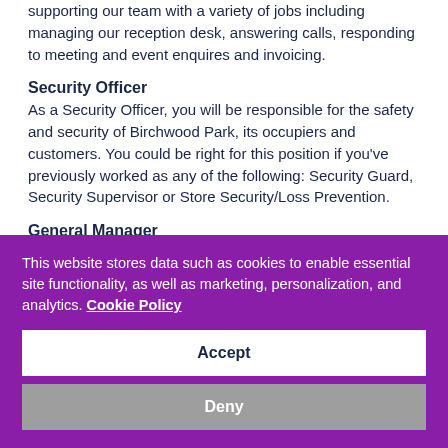supporting our team with a variety of jobs including managing our reception desk, answering calls, responding to meeting and event enquires and invoicing.
Security Officer
As a Security Officer, you will be responsible for the safety and security of Birchwood Park, its occupiers and customers. You could be right for this position if you've previously worked as any of the following: Security Guard, Security Supervisor or Store Security/Loss Prevention.
General Manager
As the leader of the catering, meeting and events…
This website stores data such as cookies to enable essential site functionality, as well as marketing, personalization, and analytics. Cookie Policy
Accept
Deny